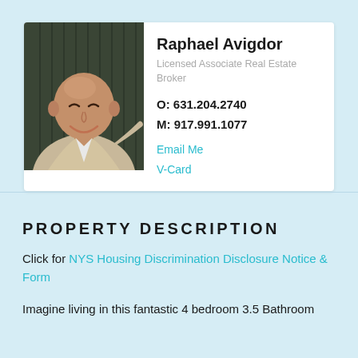[Figure (photo): Headshot photo of Raphael Avigdor, a middle-aged bald man smiling, wearing a light beige jacket, photographed in front of a dark background with vertical lines]
Raphael Avigdor
Licensed Associate Real Estate Broker
O: 631.204.2740
M: 917.991.1077
Email Me
V-Card
PROPERTY DESCRIPTION
Click for NYS Housing Discrimination Disclosure Notice & Form
Imagine living in this fantastic 4 bedroom 3.5 Bathroom